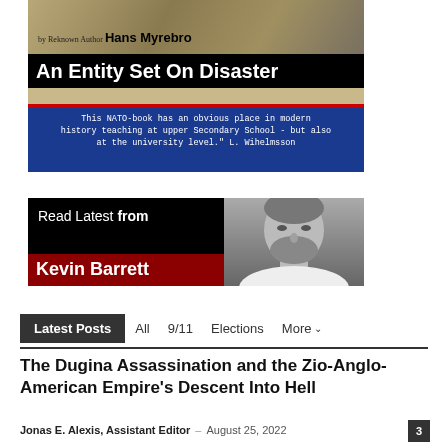[Figure (illustration): Book cover banner for 'An Entity Set On Disaster' by Hans Myrebro, with a dark tactical background image, large bold white title on black bar, and blue bar with description text: 'This NATO-book has an obvious place in modern history teaching at upper Secondary School - but also at the university level.' L. Wihelmsson]
[Figure (illustration): Promotional banner reading 'Read Latest from Kevin Barrett' with black background on left side, dark red bar with name, and black-and-white portrait photo of a bearded man on the right]
Latest Posts   All   9/11   Elections   More
The Dugina Assassination and the Zio-Anglo-American Empire's Descent Into Hell
Jonas E. Alexis, Assistant Editor – August 25, 2022